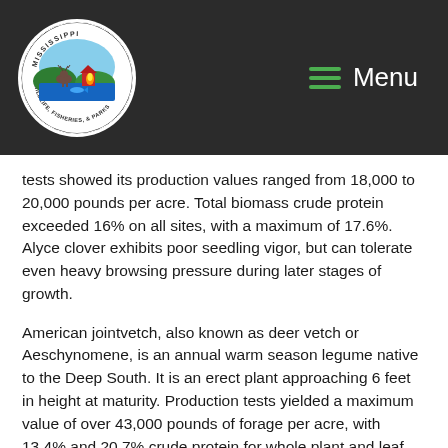Mississippi Wildlife, Fisheries, & Parks — Header with logo and menu
tests showed its production values ranged from 18,000 to 20,000 pounds per acre. Total biomass crude protein exceeded 16% on all sites, with a maximum of 17.6%. Alyce clover exhibits poor seedling vigor, but can tolerate even heavy browsing pressure during later stages of growth.
American jointvetch, also known as deer vetch or Aeschynomene, is an annual warm season legume native to the Deep South. It is an erect plant approaching 6 feet in height at maturity. Production tests yielded a maximum value of over 43,000 pounds of forage per acre, with 13.4% and 20.7% crude protein for whole plant and leaf samples, respectively. A benefit of jointvetch is that it tolerates wet,